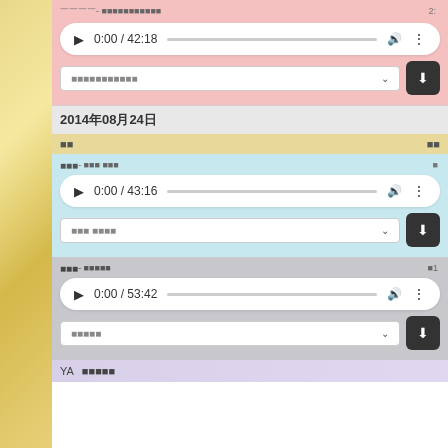[Figure (screenshot): Web page screenshot showing audio players with playback controls, dropdown menus, and download buttons. Multiple audio entries with timestamps 42:18, 43:16, and 53:42. Date header 2014年08月24日. Sections in pink, blue, and gray backgrounds. Gold decorative bar on left side.]